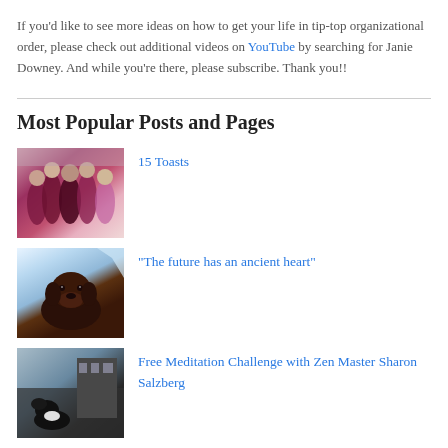If you'd like to see more ideas on how to get your life in tip-top organizational order, please check out additional videos on YouTube by searching for Janie Downey. And while you're there, please subscribe. Thank you!!
Most Popular Posts and Pages
[Figure (photo): Group of women posing together, wearing pink and dark clothing]
15 Toasts
[Figure (photo): Dark brown Labrador dog looking at camera, white/light background]
"The future has an ancient heart"
[Figure (photo): Black and white animal or bird, outdoor background]
Free Meditation Challenge with Zen Master Sharon Salzberg